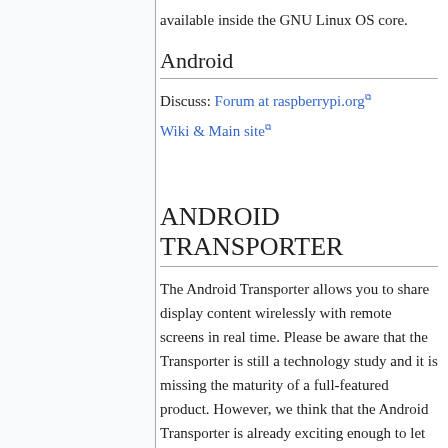available inside the GNU Linux OS core.
Android
Discuss: Forum at raspberrypi.org
Wiki & Main site
ANDROID TRANSPORTER
The Android Transporter allows you to share display content wirelessly with remote screens in real time. Please be aware that the Transporter is still a technology study and it is missing the maturity of a full-featured product. However, we think that the Android Transporter is already exciting enough to let you play around with it. We believe that with the recently released Miracast